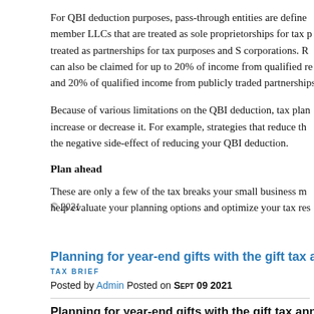For QBI deduction purposes, pass-through entities are defined as sole proprietors and single-member LLCs that are treated as sole proprietorships for tax purposes, multi-member LLCs that are treated as partnerships for tax purposes and S corporations. Reduced deductions can also be claimed for up to 20% of income from qualified real estate investment trusts and 20% of qualified income from publicly traded partnerships.
Because of various limitations on the QBI deduction, tax planning strategies that could increase or decrease it. For example, strategies that reduce the amount of W-2 wages have the negative side-effect of reducing your QBI deduction.
Plan ahead
These are only a few of the tax breaks your small business may be eligible for. We can help evaluate your planning options and optimize your tax results.
© 2021
Back to top
Planning for year-end gifts with the gift tax annu
TAX BRIEF
Posted by Admin Posted on Sept 09 2021
Planning for year-end gifts with the gift tax annu